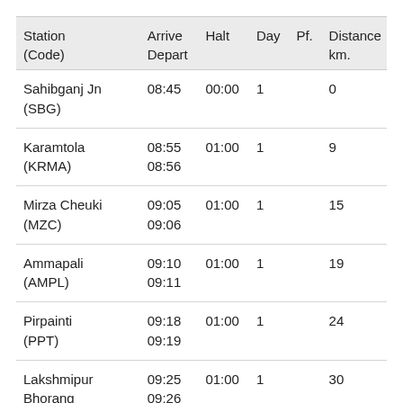| Station
(Code) | Arrive
Depart | Halt | Day | Pf. | Distance
km. |
| --- | --- | --- | --- | --- | --- |
| Sahibganj Jn
(SBG) | 08:45 | 00:00 | 1 |  | 0 |
| Karamtola
(KRMA) | 08:55
08:56 | 01:00 | 1 |  | 9 |
| Mirza Cheuki
(MZC) | 09:05
09:06 | 01:00 | 1 |  | 15 |
| Ammapali
(AMPL) | 09:10
09:11 | 01:00 | 1 |  | 19 |
| Pirpainti
(PPT) | 09:18
09:19 | 01:00 | 1 |  | 24 |
| Lakshmipur Bhorang
(LKB) | 09:25
09:26 | 01:00 | 1 |  | 30 |
| Shivanarayanpur | 09:34 | 01:00 | 1 |  | 32 |